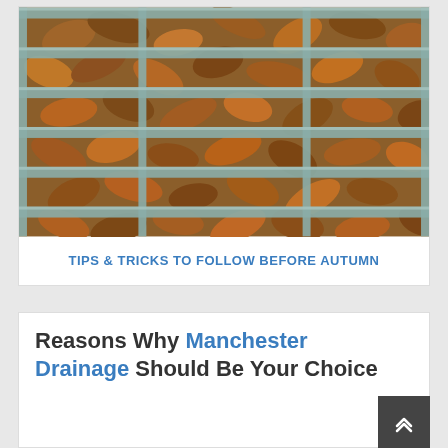[Figure (photo): Close-up photo of a metal drain grate covered with brown autumn leaves underneath the grating]
TIPS & TRICKS TO FOLLOW BEFORE AUTUMN
Reasons Why Manchester Drainage Should Be Your Choice